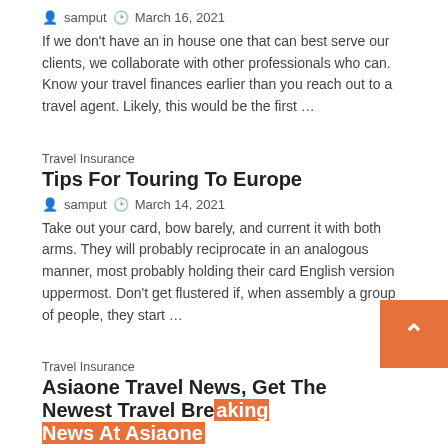samput   March 16, 2021
If we don't have an in house one that can best serve our clients, we collaborate with other professionals who can. Know your travel finances earlier than you reach out to a travel agent. Likely, this would be the first …
Travel Insurance
Tips For Touring To Europe
samput   March 14, 2021
Take out your card, bow barely, and current it with both arms. They will probably reciprocate in an analogous manner, most probably holding their card English version uppermost. Don't get flustered if, when assembly a group of people, they start …
Travel Insurance
Asiaone Travel News, Get The Newest Travel Breaking News At Asiaone
samput   March 13, 2021